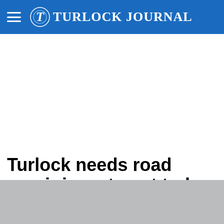Turlock Journal
Turlock needs road repair investment today
[Figure (photo): Gray placeholder photo area at the bottom of the page]